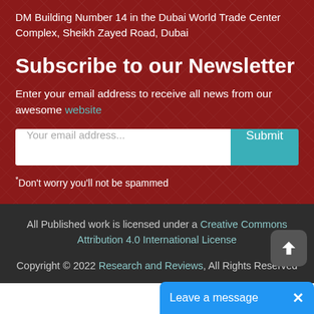DM Building Number 14 in the Dubai World Trade Center Complex, Sheikh Zayed Road, Dubai
Subscribe to our Newsletter
Enter your email address to receive all news from our awesome website
Your email address...
Submit
*Don't worry you'll not be spammed
All Published work is licensed under a Creative Commons Attribution 4.0 International License
Copyright © 2022 Research and Reviews, All Rights Reserved